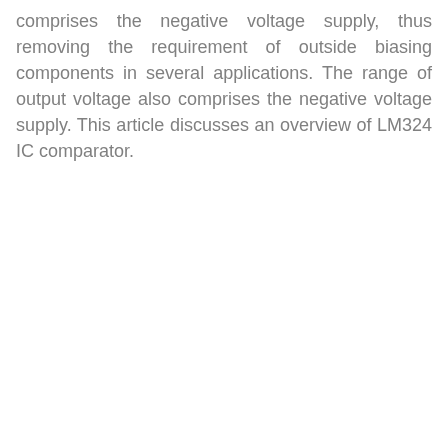comprises the negative voltage supply, thus removing the requirement of outside biasing components in several applications. The range of output voltage also comprises the negative voltage supply. This article discusses an overview of LM324 IC comparator.